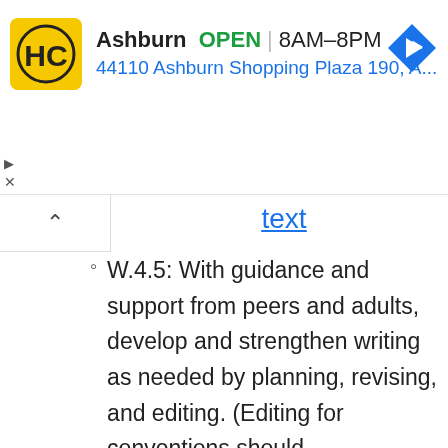[Figure (screenshot): Advertisement banner for Harris Connect (HC) business listing in Ashburn showing logo, OPEN status, hours 8AM-8PM, and address 44110 Ashburn Shopping Plaza 190, A... with a navigation arrow icon]
text
W.4.5: With guidance and support from peers and adults, develop and strengthen writing as needed by planning, revising, and editing. (Editing for conventions should